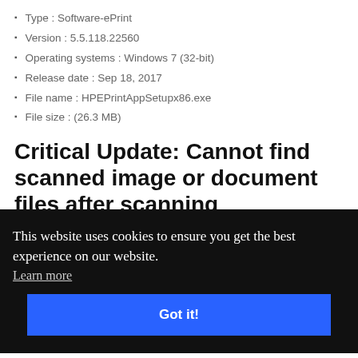Type : Software-ePrint
Version : 5.5.118.22560
Operating systems : Windows 7 (32-bit)
Release date : Sep 18, 2017
File name : HPEPrintAppSetupx86.exe
File size : (26.3 MB)
Critical Update: Cannot find scanned image or document files after scanning
This website uses cookies to ensure you get the best experience on our website.
Learn more
Got it!
Release date : Feb 19, 2011